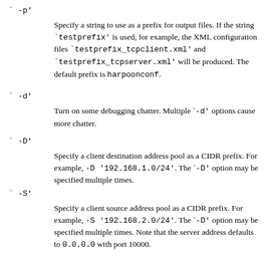`-p'

Specify a string to use as a prefix for output files. If the string `testprefix' is used, for example, the XML configuration files `testprefix_tcpclient.xml' and `testprefix_tcpserver.xml' will be produced. The default prefix is harpoonconf.
`-d'

Turn on some debugging chatter. Multiple `-d' options cause more chatter.
`-D'

Specify a client destination address pool as a CIDR prefix. For example, -D '192.168.1.0/24'. The `-D' option may be specified multiple times.
`-S'

Specify a client source address pool as a CIDR prefix. For example, -S '192.168.2.0/24'. The `-D' option may be specified multiple times. Note that the server address defaults to 0.0.0.0 with port 10000.